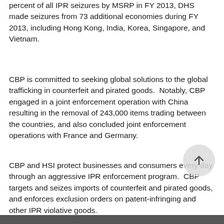percent of all IPR seizures by MSRP in FY 2013, DHS made seizures from 73 additional economies during FY 2013, including Hong Kong, India, Korea, Singapore, and Vietnam.
CBP is committed to seeking global solutions to the global trafficking in counterfeit and pirated goods.  Notably, CBP engaged in a joint enforcement operation with China resulting in the removal of 243,000 items trading between the countries, and also concluded joint enforcement operations with France and Germany.
CBP and HSI protect businesses and consumers every day through an aggressive IPR enforcement program.  CBP targets and seizes imports of counterfeit and pirated goods, and enforces exclusion orders on patent-infringing and other IPR violative goods.